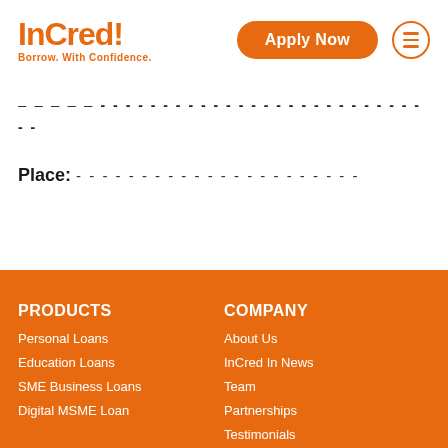InCred! Borrow. With Confidence.
Date: ___________________________
Place: ________________________
PRODUCTS: Personal Loans, Education Loans, SME Business Loans, Digital MSME Loan | COMPANY: About Us, InCred In News, Team, Partnerships, Testimonials, Podcasts